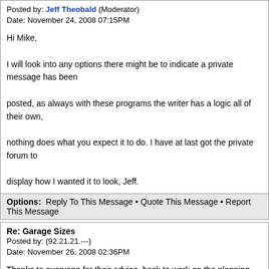Posted by: Jeff Theobald (Moderator)
Date: November 24, 2008 07:15PM
Hi Mike,

I will look into any options there might be to indicate a private message has been

posted, as always with these programs the writer has a logic all of their own,

nothing does what you expect it to do. I have at last got the private forum to

display how I wanted it to look, Jeff.
Options: Reply To This Message • Quote This Message • Report This Message
Re: Garage Sizes
Posted by: (92.21.21.---)
Date: November 26, 2008 02:36PM
Thanks to everyone for their advice, back to work on the planning application now...
Options: Reply To This Message • Quote This Message • Report This Message